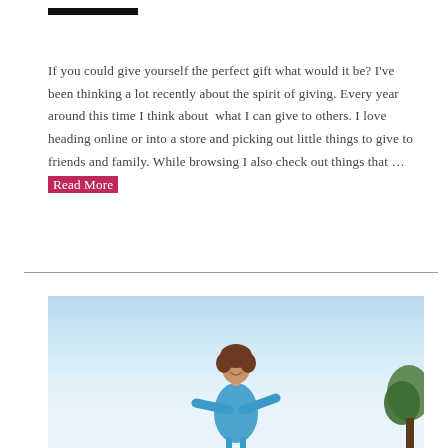If you could give yourself the perfect gift what would it be? I've been thinking a lot recently about the spirit of giving. Every year around this time I think about what I can give to others. I love heading online or into a store and picking out little things to give to friends and family. While browsing I also check out things that … Read More
[Figure (photo): A woman with curly hair smiling outdoors against a light blue sky, wearing a blue top. A tree is visible on the right side of the image.]